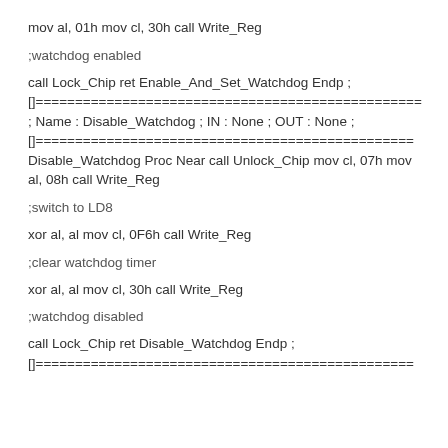mov al, 01h mov cl, 30h call Write_Reg
;watchdog enabled
call Lock_Chip ret Enable_And_Set_Watchdog Endp ;
[]================================================= ; Name : Disable_Watchdog ; IN : None ; OUT : None ;
[]================================================
Disable_Watchdog Proc Near call Unlock_Chip mov cl, 07h mov al, 08h call Write_Reg
;switch to LD8
xor al, al mov cl, 0F6h call Write_Reg
;clear watchdog timer
xor al, al mov cl, 30h call Write_Reg
;watchdog disabled
call Lock_Chip ret Disable_Watchdog Endp ;
[]================================================